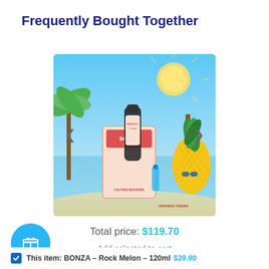Frequently Bought Together
[Figure (photo): Product photo of BONZA brand e-liquid bottles with beach and pineapple background, including Calypso Booster and Orange Crush variants]
Total price: $119.70
Add selected to cart
[Figure (illustration): Blue circular gift/present icon button]
This item: BONZA – Rock Melon – 120ml $39.90